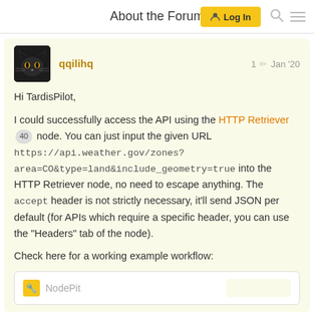About the Forum   Log In
qqilihq   1 ✏  Jan '20
Hi TardisPilot,

I could successfully access the API using the HTTP Retriever 40 node. You can just input the given URL https://api.weather.gov/zones?area=CO&type=land&include_geometry=true into the HTTP Retriever node, no need to escape anything. The accept header is not strictly necessary, it'll send JSON per default (for APIs which require a specific header, you can use the "Headers" tab of the node).

Check here for a working example workflow:
[Figure (screenshot): NodePit embedded link card with logo and yellow background placeholder on right]